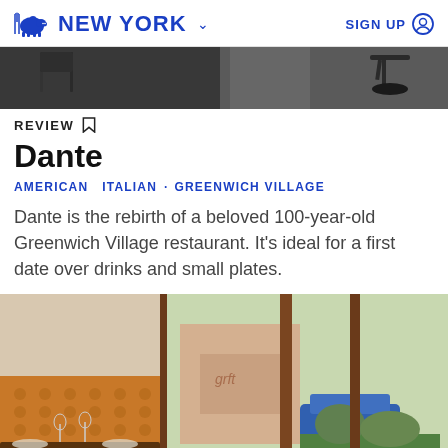NEW YORK  SIGN UP
[Figure (photo): Restaurant interior top strip photo showing chairs and a stool against dark background]
REVIEW
Dante
AMERICAN   ITALIAN  ·  GREENWICH VILLAGE
Dante is the rebirth of a beloved 100-year-old Greenwich Village restaurant. It's ideal for a first date over drinks and small plates.
[Figure (photo): Restaurant interior photo showing tufted leather banquette seating, set tables with glassware, large windows overlooking a street with a blue car, trees, and graffiti on buildings]